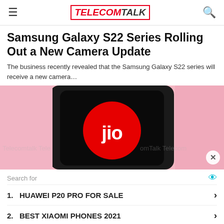TelecomTalk
Samsung Galaxy S22 Series Rolling Out a New Camera Update
The business recently revealed that the Samsung Galaxy S22 series will receive a new camera…
[Figure (photo): A hand holding a smartphone displaying the Jio logo (red circle with white 'jio' text) on a black screen, pink background. Watermark text 'Telecomtalk Telecomtalk' repeated across image.]
Search for
1. HUAWEI P20 PRO FOR SALE
2. BEST XIAOMI PHONES 2021
Ad | Business Focus